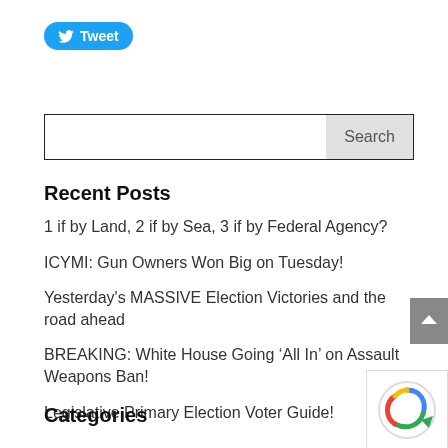[Figure (logo): Twitter Tweet button with blue background and white Twitter bird icon]
Search
Recent Posts
1 if by Land, 2 if by Sea, 3 if by Federal Agency?
ICYMI: Gun Owners Won Big on Tuesday!
Yesterday's MASSIVE Election Victories and the road ahead
BREAKING: White House Going ‘All In’ on Assault Weapons Ban!
Legislative Primary Election Voter Guide!
Categories
[Figure (other): Gray scroll-to-top arrow button]
[Figure (other): reCAPTCHA widget partial view]